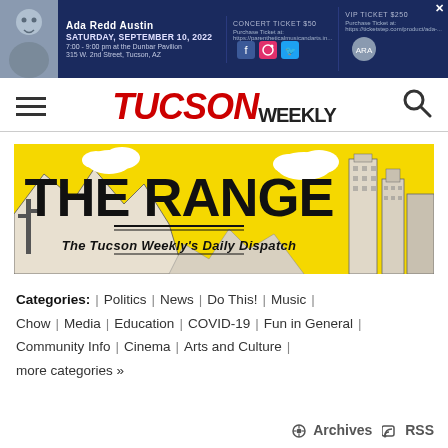[Figure (screenshot): Ad banner for Ada Redd Austin concert on Saturday, September 10, 2022 at the Dunbar Pavilion, 315 W. 2nd Street, Tucson, AZ. Concert ticket $50. VIP ticket $250.]
TUCSON WEEKLY
[Figure (illustration): THE RANGE - The Tucson Weekly's Daily Dispatch banner with yellow background showing Tucson desert and city skyline illustration]
Categories: | Politics | News | Do This! | Music | Chow | Media | Education | COVID-19 | Fun in General | Community Info | Cinema | Arts and Culture | more categories »
Archives  RSS